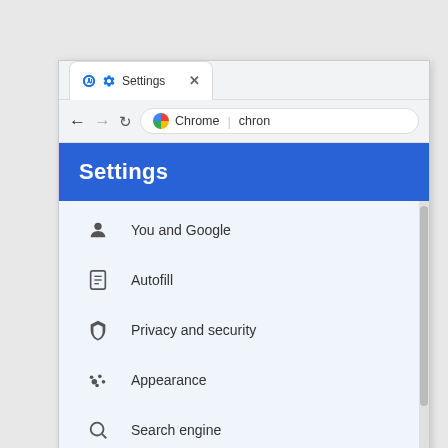[Figure (screenshot): Chrome browser Settings page screenshot showing the Settings tab with gear icon, navigation bar with back/forward/reload buttons and address bar showing Chrome settings URL, a blue Settings header, and a menu list with items: You and Google, Autofill, Privacy and security, Appearance, Search engine, Default browser. A scrollbar is visible on the right side of the menu area.]